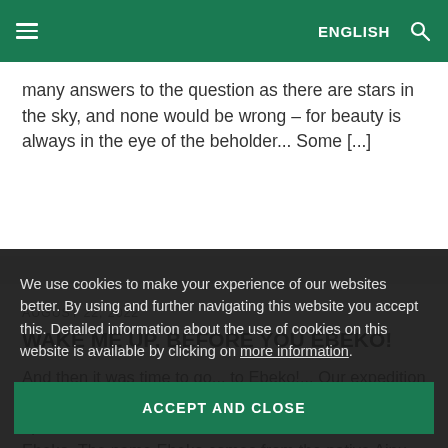≡  ENGLISH  🔍
many answers to the question as there are stars in the sky, and none would be wrong – for beauty is always in the eye of the beholder... Some [...]
AUGUST 22, 2022
WAKE ME UP, BEFORE YOU EBEKO!
And then it was time to go... to Ebeko!... Our expedition left the mainland and down to the northern Kurils. First up – the island of Paramushir and its active volcano Ebeko. The name Ebeko comes from the native Ainu language for 'kindling the flame', and it opposes to share its kindling – it erupts and [...]
We use cookies to make your experience of our websites better. By using and further navigating this website you accept this. Detailed information about the use of cookies on this website is available by clicking on more information.
ACCEPT AND CLOSE